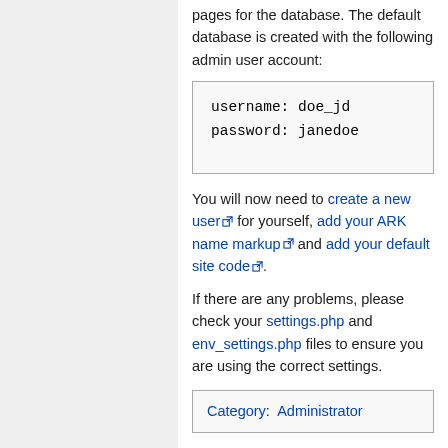pages for the database. The default database is created with the following admin user account:
username: doe_jd
password: janedoe
You will now need to create a new user for yourself, add your ARK name markup and add your default site code.
If there are any problems, please check your settings.php and env_settings.php files to ensure you are using the correct settings.
Category: Administrator